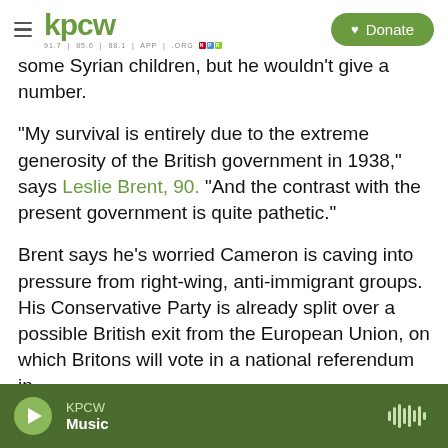KPCW | Donate
some Syrian children, but he wouldn't give a number.
"My survival is entirely due to the extreme generosity of the British government in 1938," says Leslie Brent, 90. "And the contrast with the present government is quite pathetic."
Brent says he's worried Cameron is caving into pressure from right-wing, anti-immigrant groups. His Conservative Party is already split over a possible British exit from the European Union, on which Britons will vote in a national referendum in
KPCW
Music